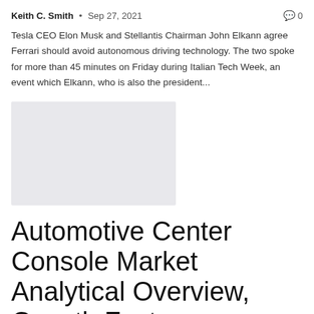Keith C. Smith • Sep 27, 2021   💬 0
Tesla CEO Elon Musk and Stellantis Chairman John Elkann agree Ferrari should avoid autonomous driving technology. The two spoke for more than 45 minutes on Friday during Italian Tech Week, an event which Elkann, who is also the president...
[Figure (photo): Placeholder image (light gray rectangle)]
Automotive Center Console Market Analytical Overview, Growth Factors, Demand, and Forecast Trends